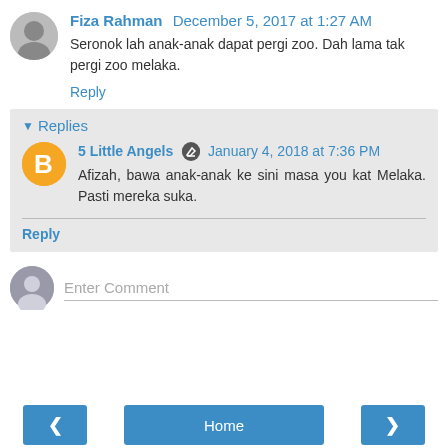Fiza Rahman  December 5, 2017 at 1:27 AM
Seronok lah anak-anak dapat pergi zoo. Dah lama tak pergi zoo melaka.
Reply
Replies
5 Little Angels  January 4, 2018 at 7:36 PM
Afizah, bawa anak-anak ke sini masa you kat Melaka. Pasti mereka suka.
Reply
Enter Comment
Home